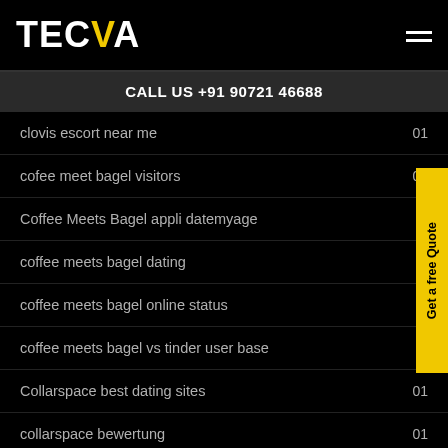TECVA
CALL US +91 90721 46688
clovis escort near me  01
cofee meet bagel visitors  01
Coffee Meets Bagel appli datemyage
coffee meets bagel dating
coffee meets bagel online status
coffee meets bagel vs tinder user base
Collarspace best dating sites  01
collarspace bewertung  01
Collarspace online status  01